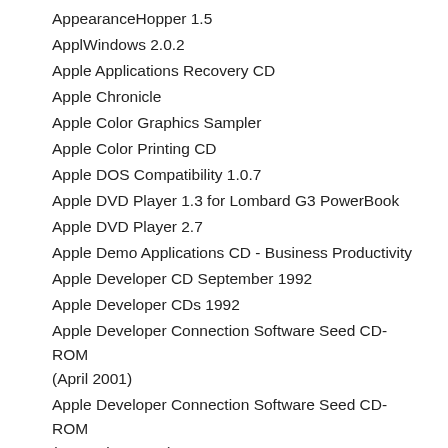AppearanceHopper 1.5
ApplWindows 2.0.2
Apple Applications Recovery CD
Apple Chronicle
Apple Color Graphics Sampler
Apple Color Printing CD
Apple DOS Compatibility 1.0.7
Apple DVD Player 1.3 for Lombard G3 PowerBook
Apple DVD Player 2.7
Apple Demo Applications CD - Business Productivity
Apple Developer CD September 1992
Apple Developer CDs 1992
Apple Developer Connection Software Seed CD-ROM (April 2001)
Apple Developer Connection Software Seed CD-ROM (December 2000)
Apple Developer Connection Software Seed CD-ROM (November 2000)
Apple Displays Software 1.7.1
Apple Document/Demo CD - Audio Display